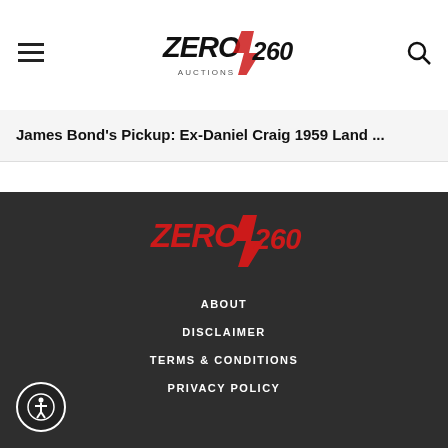Zero260 Auctions — navigation header with hamburger menu, logo, and search icon
James Bond's Pickup: Ex-Daniel Craig 1959 Land ...
[Figure (logo): Zero260 Auctions logo in red, footer version on dark background]
ABOUT
DISCLAIMER
TERMS & CONDITIONS
PRIVACY POLICY